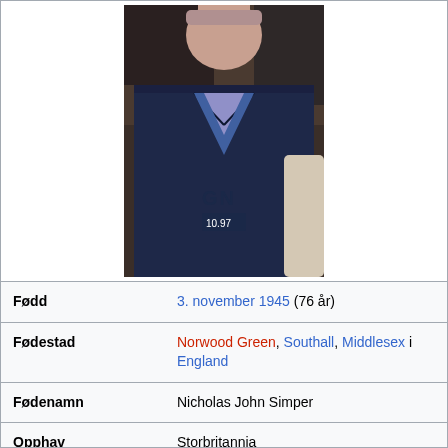[Figure (photo): Photo of a man wearing a light purple/lavender t-shirt with 'GN' text and a dark navy zip-up track jacket open at the front. Upper body and face visible, taken indoors.]
| Fødd | 3. november 1945 (76 år) |
| Fødestad | Norwood Green, Southall, Middlesex i England |
| Fødenamn | Nicholas John Simper |
| Opphav | Storbritannia |
| Aktiv | 1957 til i dag |
| Sjanger | Rock, hardrock, heavy metal, progressiv rock |